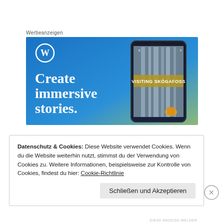Werbeanzeigen
[Figure (illustration): WordPress advertisement banner with blue-to-green gradient background, WordPress logo (W in circle) top left, large white serif text 'Create immersive stories.' on the left, and a smartphone showing a waterfall photo with overlay text 'VISITING SKÓGAFOSS' on the right side.]
Datenschutz & Cookies: Diese Website verwendet Cookies. Wenn du die Website weiterhin nutzt, stimmst du der Verwendung von Cookies zu. Weitere Informationen, beispielsweise zur Kontrolle von Cookies, findest du hier: Cookie-Richtlinie
Schließen und Akzeptieren